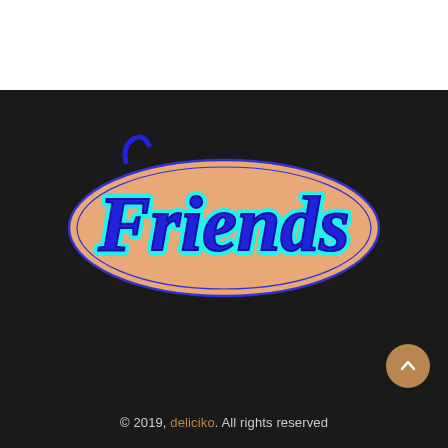[Figure (logo): Friends logo styled like the Ford logo — the word 'Friends' in blue cursive script with cyan neon glow outline, set inside a peach/salmon colored horizontal oval with a blue border, on a dark/black background.]
© 2019, deliciko. All rights reserved